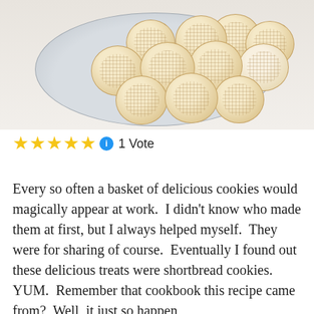[Figure (photo): A plate of round shortbread cookies, some with lattice/crosshatch pressed patterns on top, arranged on a light grey ceramic plate against a light background.]
★★★★★ ℹ 1 Vote
Every so often a basket of delicious cookies would magically appear at work.  I didn't know who made them at first, but I always helped myself.  They were for sharing of course.  Eventually I found out these delicious treats were shortbread cookies.  YUM.  Remember that cookbook this recipe came from?  Well, it just so happen